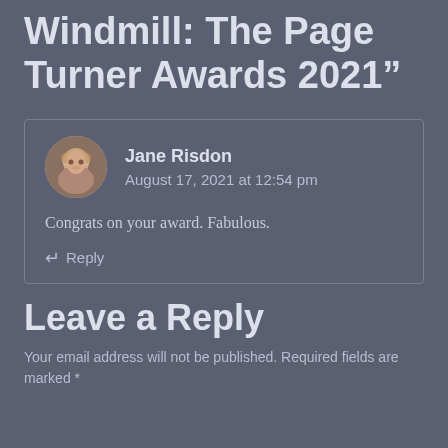Windmill: The Page Turner Awards 2021”
Jane Risdon
August 17, 2021 at 12:54 pm
Congrats on your award. Fabulous.
↵ Reply
Leave a Reply
Your email address will not be published. Required fields are marked *